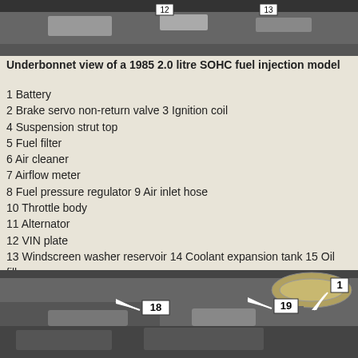[Figure (photo): Underbonnet view of a 1985 2.0 litre SOHC fuel injection model - top photograph showing engine bay with numbered labels]
Underbonnet view of a 1985 2.0 litre SOHC fuel injection model
1 Battery
2 Brake servo non-return valve 3 Ignition coil
4 Suspension strut top
5 Fuel filter
6 Air cleaner
7 Airflow meter
8 Fuel pressure regulator 9 Air inlet hose
10 Throttle body
11 Alternator
12 VIN plate
13 Windscreen washer reservoir 14 Coolant expansion tank 15 Oil filler cap
16 Idle speed control valve 17 Inlet manifold
18 Brake fluid reservoir 19 Fusebox
20 Windscreen wiper motor 21 Engine oil level dipstick
[Figure (photo): Underbonnet photo showing numbered components including 18 (Brake fluid reservoir), 19 (Fusebox), and 1 (Battery) with arrows pointing to each]